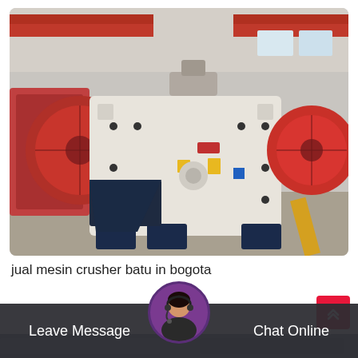[Figure (photo): Industrial jaw crusher machine with red flywheels and white body, photographed in a factory warehouse setting with concrete floor and red overhead crane beams.]
jual mesin crusher batu in bogota
[Figure (screenshot): Chat bar at the bottom of the page with 'Leave Message' on the left, a customer service avatar in the center, and 'Chat Online' on the right, against a dark semi-transparent background with a background image visible behind it. A red scroll-to-top button with chevron is also visible.]